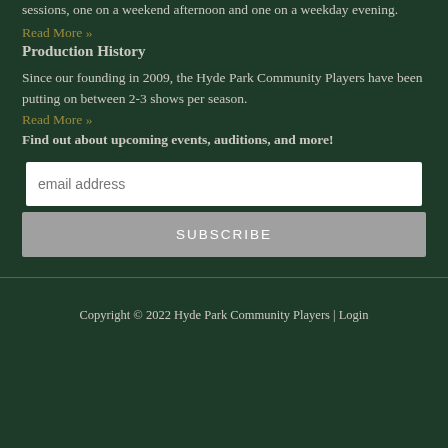sessions, one on a weekend afternoon and one on a weekday evening.
Read More »
Production History
Since our founding in 2009, the Hyde Park Community Players have been putting on between 2-3 shows per season.
Read More »
Find out about upcoming events, auditions, and more!
email address
SUBSCRIBE
Copyright © 2022 Hyde Park Community Players | Login